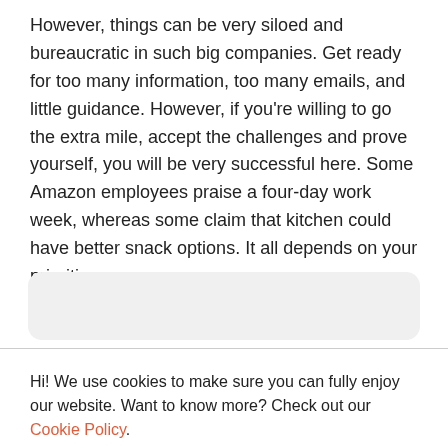However, things can be very siloed and bureaucratic in such big companies. Get ready for too many information, too many emails, and little guidance. However, if you're willing to go the extra mile, accept the challenges and prove yourself, you will be very successful here. Some Amazon employees praise a four-day work week, whereas some claim that kitchen could have better snack options. It all depends on your priorities.
Hi! We use cookies to make sure you can fully enjoy our website. Want to know more? Check out our Cookie Policy.
Cookie Settings
Accept All